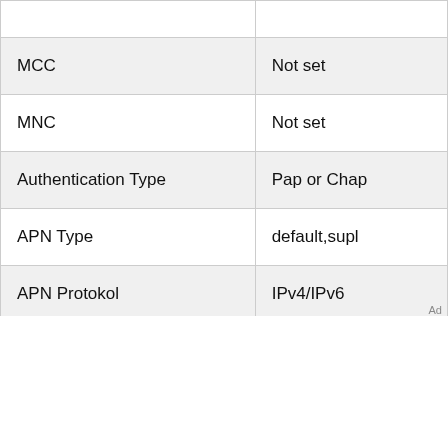| MCC | Not set |
| MNC | Not set |
| Authentication Type | Pap or Chap |
| APN Type | default,supl |
| APN Protokol | IPv4/IPv6 |
| APN Roaming Protocol | IPv4/IPv6 |